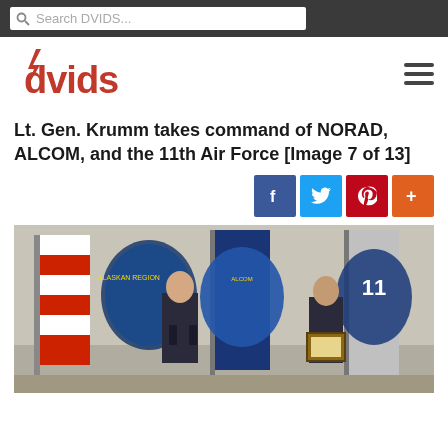Search DVIDS...
[Figure (logo): DVIDS logo in red with lightning bolt icon]
Lt. Gen. Krumm takes command of NORAD, ALCOM, and the 11th Air Force [Image 7 of 13]
[Figure (photo): Two Air Force officers in dress uniforms standing in front of military flags and unit crests. One officer holds a framed item. Behind them are displayed the Alaskan Region, ALCOM, and 11th Air Force emblems.]